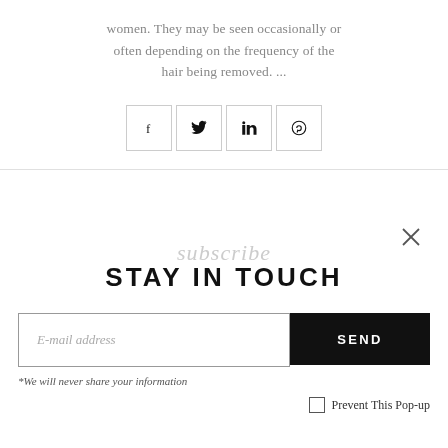women. They may be seen occasionally or often depending on the frequency of the hair being removed. ...
[Figure (infographic): Four social sharing icon boxes: Facebook (f), Twitter (bird), LinkedIn (in), Pinterest (p)]
STAY IN TOUCH
subscribe (script/watermark text)
E-mail address
SEND
*We will never share your information
Prevent This Pop-up